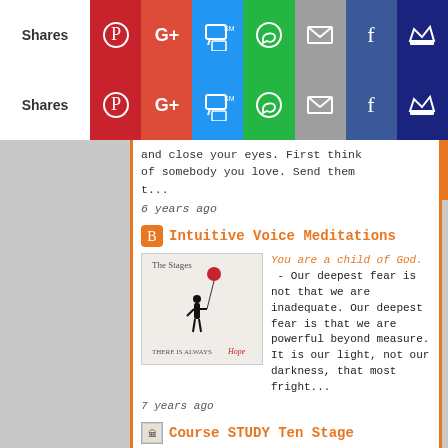[Figure (screenshot): Social share bar row 1 with Pinterest, G+, SMS, WhatsApp, Email, Facebook, and King icons]
[Figure (screenshot): Social share bar row 2 (duplicate) with Pinterest, G+, SMS, WhatsApp, Email, Facebook, and King icons]
and close your eyes. First think of somebody you love. Send them t...
6 years ago
Intuitive Voice Meditations
[Figure (illustration): Black and white illustration of a girl holding a red heart balloon, text reads 'The Stages' and 'THERE IS ALWAYS HOPE']
You are a child of God. - Our deepest fear is not that we are inadequate. Our deepest fear is that we are powerful beyond measure. It is our light, not our darkness, that most fright...
7 years ago
Course STUDY Ten Stage
[Figure (screenshot): Dark image with quote text, likely a motivational quote image]
It is important to know that we are not our job or our career. - It is important to know that we are not our job or our career. No matter how talented we are at work, or